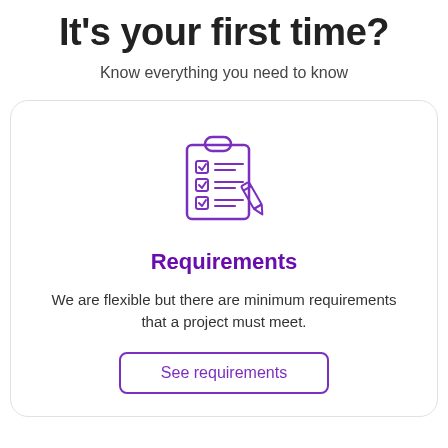It's your first time?
Know everything you need to know
[Figure (illustration): Purple clipboard with checklist and pencil icon]
Requirements
We are flexible but there are minimum requirements that a project must meet.
See requirements